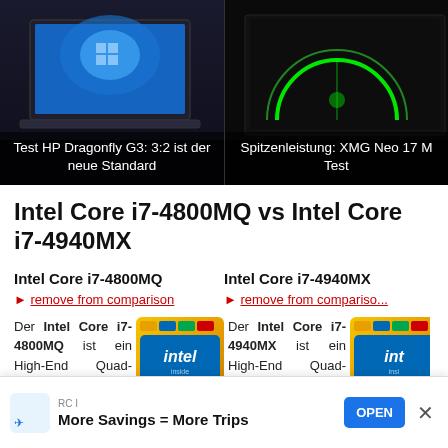[Figure (screenshot): Two laptop product images side by side. Left: HP Dragonfly G3 with Windows 11 wallpaper. Right: XMG Neo 17 on dark background with green arc graphic.]
Test HP Dragonfly G3: 3:2 ist der neue Standard
Spitzenleistung: XMG Neo 17 M Test
Intel Core i7-4800MQ vs Intel Core i7-4940MX
Intel Core i7-4800MQ
Intel Core i7-4940MX
remove from comparison
remove from comparison
Der Intel Core i7-4800MQ ist ein High-End Quad-Core Prozessor auf Basis der Haswell-Architektur...
[Figure (logo): Intel inside CORE i7 vPro badge]
Der Intel Core i7-4940MX ist ein High-End Quad-Core Prozessor auf Basis der Haswell-Architektur...
[Figure (logo): Intel inside CORE i7 badge (partially visible)]
RC I
More Savings = More Trips
OPEN